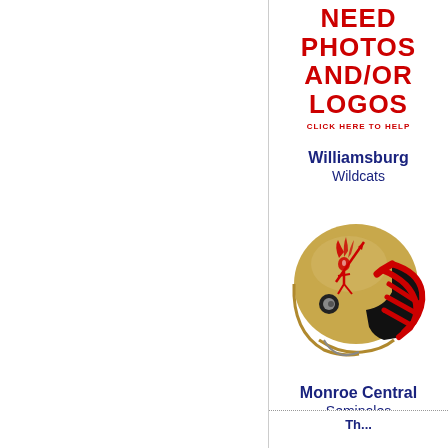[Figure (illustration): Red bold text reading NEED PHOTOS AND/OR LOGOS in distressed style, followed by red text CLICK HERE TO HELP]
Williamsburg
Wildcats
[Figure (illustration): Football helmet colored gold/tan with red face mask and Native American logo on the side, facing right]
Monroe Central
Seminoles
Woodsfield
Th...